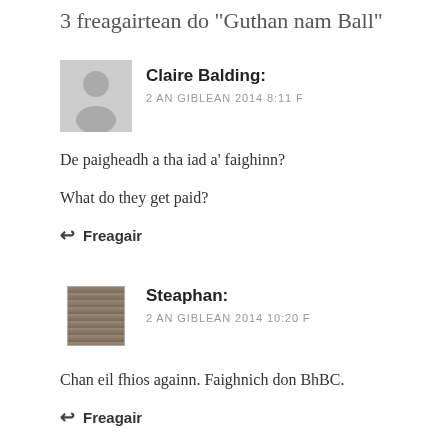3 freagairtean do "Guthan nam Ball"
Claire Balding:
2 AN GIBLEAN 2014 8:11 F
De paigheadh a tha iad a' faighinn?

What do they get paid?
Freagair
Steaphan:
2 AN GIBLEAN 2014 10:20 F
Chan eil fhios againn. Faighnich don BhBC.
Freagair